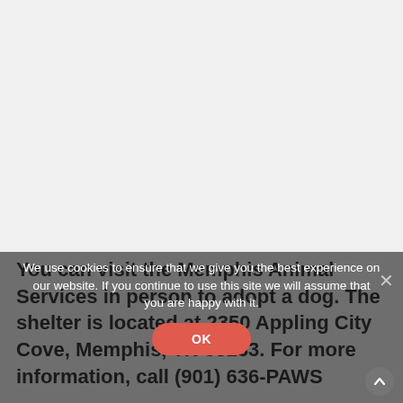[Figure (screenshot): White/light gray blank upper portion of a webpage screenshot]
You can visit the Memphis Animal Services in person to adopt a dog. The shelter is located at 2350 Appling City Cove, Memphis, TN 38133. For more information, call (901) 636-PAWS (7297)...
We use cookies to ensure that we give you the best experience on our website. If you continue to use this site we will assume that you are happy with it.
OK